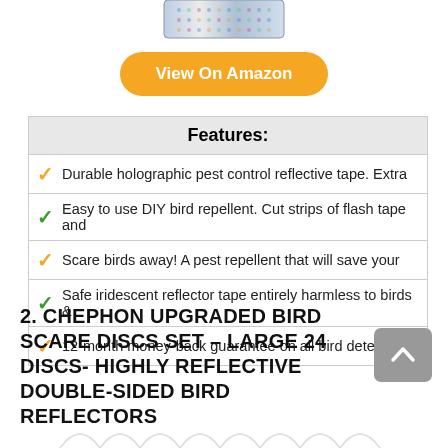[Figure (photo): Partial product image of holographic reflective tape at top of page]
View On Amazon
| Features: |
| --- |
| ✓ Durable holographic pest control reflective tape. Extra |
| ✓ Easy to use DIY bird repellent. Cut strips of flash tape and |
| ✓ Scare birds away! A pest repellent that will save your |
| ✓ Safe iridescent reflector tape entirely harmless to birds & |
| ✓ 12-month money-back guarantee on all bird deterrent |
2. CHEPHON UPGRADED BIRD SCARE DISCS SET – LARGE 24 DISCS- HIGHLY REFLECTIVE DOUBLE-SIDED BIRD REFLECTORS
[Figure (illustration): Decorative wave/arc pattern at bottom of page]